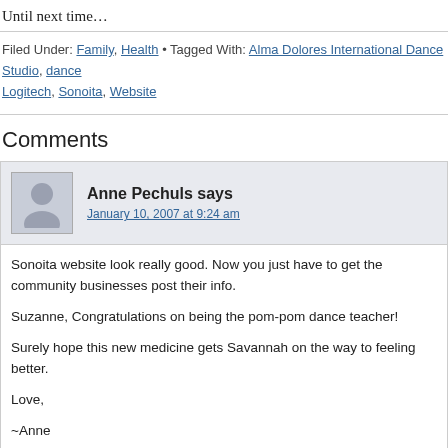Until next time…
Filed Under: Family, Health • Tagged With: Alma Dolores International Dance Studio, dance, Logitech, Sonoita, Website
Comments
Anne Pechuls says
January 10, 2007 at 9:24 am
Sonoita website look really good. Now you just have to get the community businesses post their info.

Suzanne, Congratulations on being the pom-pom dance teacher!

Surely hope this new medicine gets Savannah on the way to feeling better.

Love,

~Anne